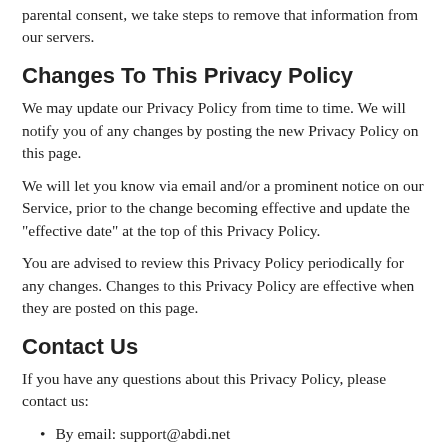parental consent, we take steps to remove that information from our servers.
Changes To This Privacy Policy
We may update our Privacy Policy from time to time. We will notify you of any changes by posting the new Privacy Policy on this page.
We will let you know via email and/or a prominent notice on our Service, prior to the change becoming effective and update the "effective date" at the top of this Privacy Policy.
You are advised to review this Privacy Policy periodically for any changes. Changes to this Privacy Policy are effective when they are posted on this page.
Contact Us
If you have any questions about this Privacy Policy, please contact us:
By email: support@abdi.net